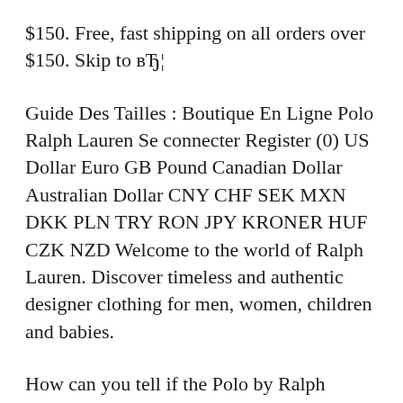$150. Free, fast shipping on all orders over $150. Skip to вЂ¦
Guide Des Tailles : Boutique En Ligne Polo Ralph Lauren Se connecter Register (0) US Dollar Euro GB Pound Canadian Dollar Australian Dollar CNY CHF SEK MXN DKK PLN TRY RON JPY KRONER HUF CZK NZD Welcome to the world of Ralph Lauren. Discover timeless and authentic designer clothing for men, women, children and babies.
How can you tell if the Polo by Ralph Lauren Polo Shirt that you are about to buy online is genuine? Follow these 12 simple steps to verify the authenticity of your purchase. Always ask the seller to use the youVerify app prior to purchase